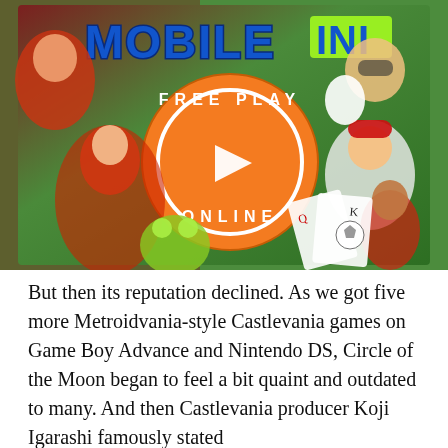[Figure (illustration): Mobile INI promotional banner showing colorful video game characters with a central orange circle reading FREE PLAY ONLINE with a play button. Characters include anime-style fighters, a Santa Claus figure, a cute ghost, a monster frog, playing card imagery, and a soccer child character. The logo 'MOBILE INI' appears at the top in blue and green pixel-style letters.]
But then its reputation declined. As we got five more Metroidvania-style Castlevania games on Game Boy Advance and Nintendo DS, Circle of the Moon began to feel a bit quaint and outdated to many. And then Castlevania producer Koji Igarashi famously stated